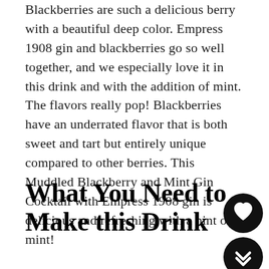Blackberries are such a delicious berry with a beautiful deep color. Empress 1908 gin and blackberries go so well together, and we especially love it in this drink and with the addition of mint. The flavors really pop! Blackberries have an underrated flavor that is both sweet and tart but entirely unique compared to other berries. This Muddled Blackberry and Mint Gin Cocktail with Empress 1908 gin is delicious and refreshing with a hint of mint!
What You Need to Make this Drink